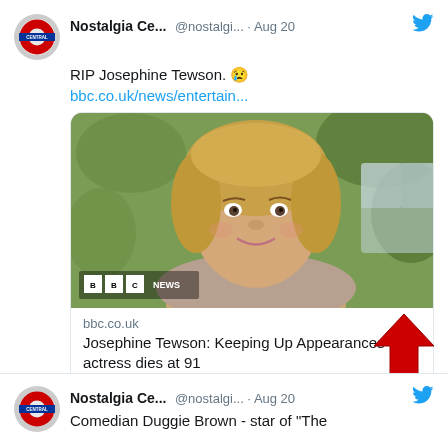[Figure (screenshot): Twitter/social media feed screenshot showing two tweets from Nostalgia Central account]
Nostalgia Ce... @nostalgi... · Aug 20
RIP Josephine Tewson. 😢
bbc.co.uk/news/entertain...
[Figure (photo): BBC News photo of Josephine Tewson, a middle-aged woman with blonde hair smiling, with BBC NEWS logo watermark]
bbc.co.uk
Josephine Tewson: Keeping Up Appearances actress dies at 91
♡ 2
Nostalgia Ce... @nostalgi... · Aug 20
Comedian Duggie Brown - star of "The